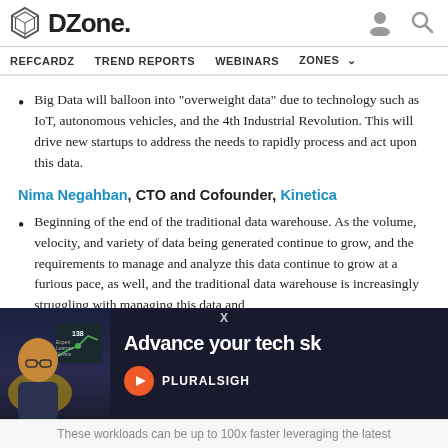DZone. [user icon] [search icon]
REFCARDZ  TREND REPORTS  WEBINARS  ZONES
Big Data will balloon into "overweight data" due to technology such as IoT, autonomous vehicles, and the 4th Industrial Revolution. This will drive new startups to address the needs to rapidly process and act upon this data.
Nima Negahban, CTO and Cofounder, Kinetica
Beginning of the end of the traditional data warehouse. As the volume, velocity, and variety of data being generated continue to grow, and the requirements to manage and analyze this data continue to grow at a furious pace, as well, and the traditional data warehouse is increasingly struggling with managing this data and
[Figure (photo): Pluralsight advertisement banner with a person wearing glasses in front of a dark screen showing a chart with the number 138, text reading 'Advance your tech sk...' and Pluralsight logo]
These workloads can be up to 100x faster leveraging the latest